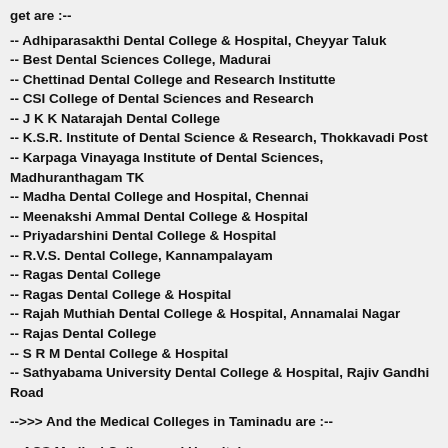get are :--
-- Adhiparasakthi Dental College & Hospital, Cheyyar Taluk
-- Best Dental Sciences College, Madurai
-- Chettinad Dental College and Research Institutte
-- CSI College of Dental Sciences and Research
-- J K K Natarajah Dental College
-- K.S.R. Institute of Dental Science & Research, Thokkavadi Post
-- Karpaga Vinayaga Institute of Dental Sciences, Madhuranthagam TK
-- Madha Dental College and Hospital, Chennai
-- Meenakshi Ammal Dental College & Hospital
-- Priyadarshini Dental College & Hospital
-- R.V.S. Dental College, Kannampalayam
-- Ragas Dental College
-- Ragas Dental College & Hospital
-- Rajah Muthiah Dental College & Hospital, Annamalai Nagar
-- Rajas Dental College
-- S R M Dental College & Hospital
-- Sathyabama University Dental College & Hospital, Rajiv Gandhi Road
-->>> And the Medical Colleges in Taminadu are :--
-- ACS Medical College and Hospital
-- Cancer Institute, College of Oncological Science
-- Chengalpattu Medical College
-- Chennai Medical College, Park Town
-- Chettinad Hospital & Research Institute, Kanchipuram
-- Christian Medical College